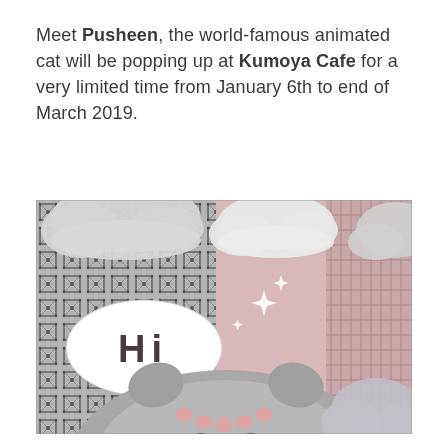Meet Pusheen, the world-famous animated cat will be popping up at Kumoya Cafe for a very limited time from January 6th to end of March 2019.
[Figure (photo): Photo of Pusheen cafe decoration at Kumoya Cafe. Shows a large cardboard cutout of Pusheen the cat (round grey cartoon cat face with whiskers and paw pads visible) in front of a geometric patterned black-and-white wall on the left, and a pink wall with cloud decorations and sparkle accents on the right. A white speech bubble saying 'Hi' is on the left side. Decorative cloud cutouts hang from above.]